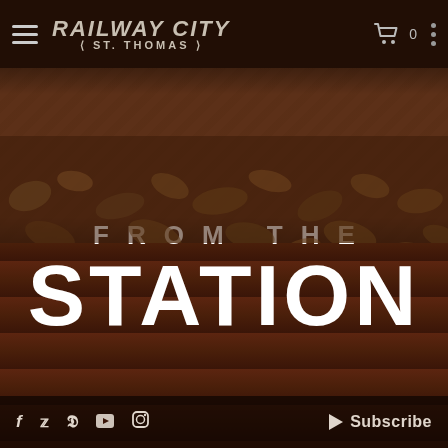[Figure (screenshot): Railway City Brewing Co. St. Thomas website screenshot showing navigation bar with hamburger menu, Railway City St. Thomas logo, cart icon, and menu dots on dark background]
[Figure (photo): Background image of railway gravel/rocks and dark wood planks]
FROM THE STATION
f  Twitter  Pinterest  YouTube  Instagram  Subscribe